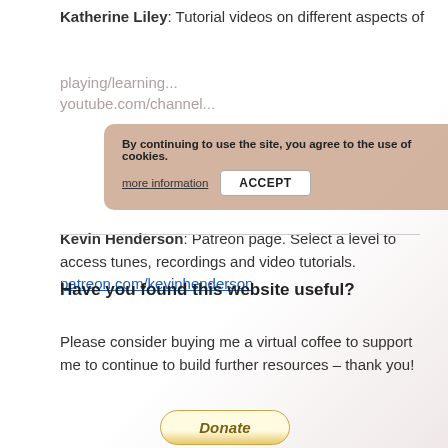Katherine Liley: Tutorial videos on different aspects of playing/learning...
[Figure (screenshot): Cookie consent banner with text 'By continuing to use the site, you agree to the use of cookies.' and links 'more information' and 'ACCEPT' button]
youtube.com/channel...
Kevin Henderson: Patreon page. Select a level to access tunes, recordings and video tutorials.
patreon.com/kevinhenderson
Have you found this website useful?
Please consider buying me a virtual coffee to support me to continue to build further resources – thank you!
[Figure (illustration): Donate button with italic bold text 'Donate' in a rounded yellow/gold gradient button]